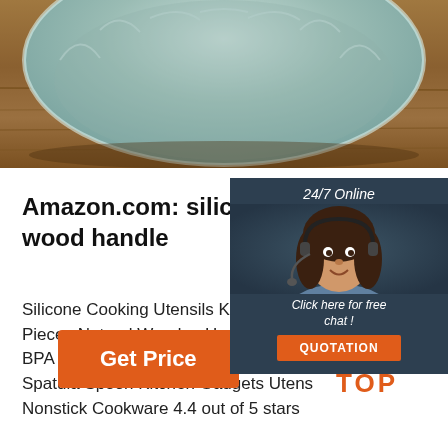[Figure (photo): Green/teal ceramic bowl on wooden surface, top-down view]
Amazon.com: silicone spatula wood handle
Silicone Cooking Utensils Kitchen Ute... Pieces Natural Wooden Handles Cook... BPA Free Non Toxic Silicone Turner To... Spatula Spoon Kitchen Gadgets Utens... Nonstick Cookware 4.4 out of 5 stars
[Figure (photo): 24/7 Online chat widget with female customer service agent, Click here for free chat!, QUOTATION button]
Get Price
[Figure (logo): TOP logo with orange dots and text]